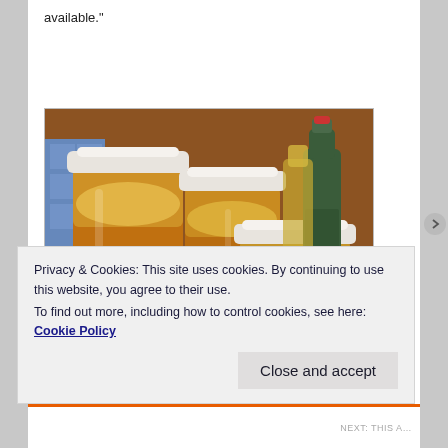available."
[Figure (photo): Several mason jars filled with amber/golden liquid (likely apple cider vinegar or similar fermented drink) with white lids, alongside dark glass bottles, on a kitchen counter.]
Privacy & Cookies: This site uses cookies. By continuing to use this website, you agree to their use.
To find out more, including how to control cookies, see here: Cookie Policy
Close and accept